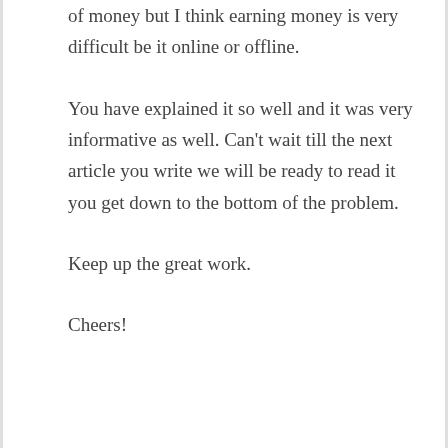of money but I think earning money is very difficult be it online or offline.
You have explained it so well and it was very informative as well. Can't wait till the next article you write we will be ready to read it you get down to the bottom of the problem.
Keep up the great work.
Cheers!